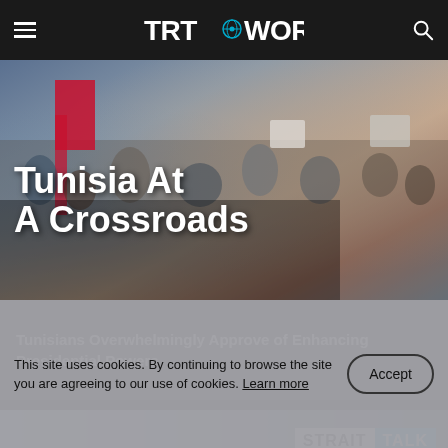TRT WORLD
[Figure (photo): Crowd of protesters with signs and Tunisian flag, overlaid with large white bold text 'Tunisia At A Crossroads']
Tunisians Overwhelmingly Approve of Enhancing Presidential Powers
[Figure (screenshot): Partial thumbnail of a video segment with 'STRAIT TALK' logo in the upper right corner]
This site uses cookies. By continuing to browse the site you are agreeing to our use of cookies. Learn more